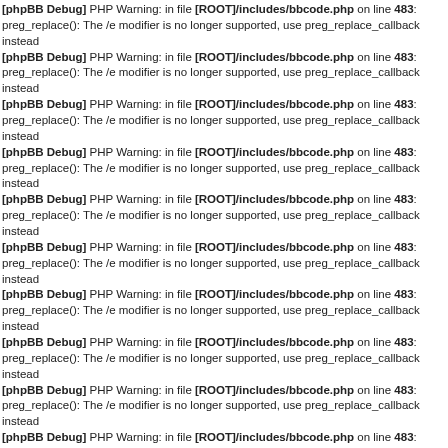[phpBB Debug] PHP Warning: in file [ROOT]/includes/bbcode.php on line 483: preg_replace(): The /e modifier is no longer supported, use preg_replace_callback instead
[phpBB Debug] PHP Warning: in file [ROOT]/includes/bbcode.php on line 483: preg_replace(): The /e modifier is no longer supported, use preg_replace_callback instead
[phpBB Debug] PHP Warning: in file [ROOT]/includes/bbcode.php on line 483: preg_replace(): The /e modifier is no longer supported, use preg_replace_callback instead
[phpBB Debug] PHP Warning: in file [ROOT]/includes/bbcode.php on line 483: preg_replace(): The /e modifier is no longer supported, use preg_replace_callback instead
[phpBB Debug] PHP Warning: in file [ROOT]/includes/bbcode.php on line 483: preg_replace(): The /e modifier is no longer supported, use preg_replace_callback instead
[phpBB Debug] PHP Warning: in file [ROOT]/includes/bbcode.php on line 483: preg_replace(): The /e modifier is no longer supported, use preg_replace_callback instead
[phpBB Debug] PHP Warning: in file [ROOT]/includes/bbcode.php on line 483: preg_replace(): The /e modifier is no longer supported, use preg_replace_callback instead
[phpBB Debug] PHP Warning: in file [ROOT]/includes/bbcode.php on line 483: preg_replace(): The /e modifier is no longer supported, use preg_replace_callback instead
[phpBB Debug] PHP Warning: in file [ROOT]/includes/bbcode.php on line 483: preg_replace(): The /e modifier is no longer supported, use preg_replace_callback instead
[phpBB Debug] PHP Warning: in file [ROOT]/includes/bbcode.php on line 483: preg_replace(): The /e modifier is no longer supported, use preg_replace_callback instead
[phpBB Debug] PHP Warning: in file [ROOT]/includes/bbcode.php on line 483: preg_replace(): The /e modifier is no longer supported, use preg_replace_callback instead
[phpBB Debug] PHP Warning: in file [ROOT]/includes/bbcode.php on line 483: preg_replace(): The /e modifier is no longer supported, use preg_replace_callback instead
[phpBB Debug] PHP Warning: in file [ROOT]/includes/bbcode.php on line 483: preg_replace(): The /e modifier is no longer supported, use preg_replace_callback instead
[phpBB Debug] PHP Warning: in file [ROOT]/includes/bbcode.php on line 483: preg_replace(): The /e modifier is no longer supported, use preg_replace_callback instead
[phpBB Debug] PHP Warning: in file [ROOT]/includes/bbcode.php on line 483: preg_replace(): The /e modifier is no longer supported, use preg_replace_callback instead
[phpBB Debug] PHP Warning: in file [ROOT]/includes/bbcode.php on line 483: preg_replace(): The /e modifier is no longer supported, use preg_replace_callback instead
[phpBB Debug] PHP Warning: in file [ROOT]/includes/bbcode.php on line 483: preg_replace(): The /e modifier is no longer supported, use preg_replace_callback instead
[phpBB Debug] PHP Warning: in file [ROOT]/includes/bbcode.php on line 483: preg_replace(): The /e modifier is no longer supported, use preg_replace_callback instead
[phpBB Debug] PHP Warning: in file [ROOT]/includes/bbcode.php on line 483: preg_replace(): The /e modifier is no longer supported, use preg_replace_callback instead
[phpBB Debug] PHP Warning: in file [ROOT]/includes/bbcode.php on line 483: preg_replace(): The /e modifier is no longer supported, use preg_replace_callback instead